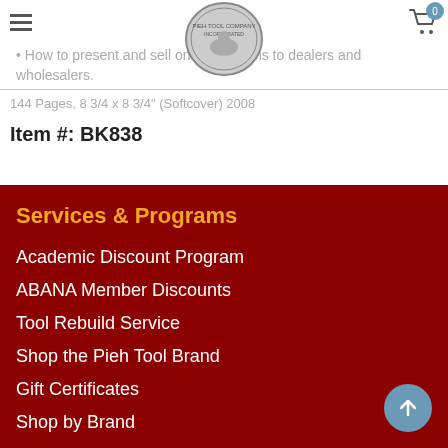How to present and sell one's creations to dealers and wholesalers.
144 Pages, 8 3/4 x 8 3/4" (Softcover) 2008
Item #: BK838
Services & Programs
Academic Discount Program
ABANA Member Discounts
Tool Rebuild Service
Shop the Pieh Tool Brand
Gift Certificates
Shop by Brand
Contact Information